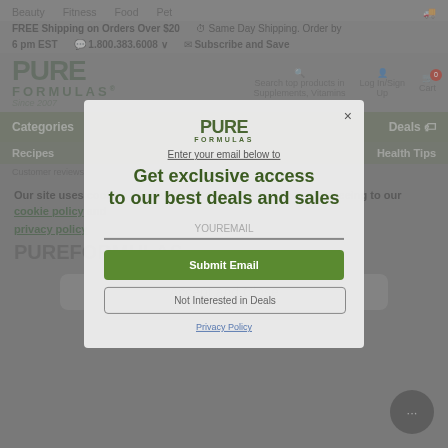[Figure (screenshot): PureFormulas website screenshot showing navigation bar with Beauty, Fitness, Food, Pet categories, free shipping notice, same day shipping notice, phone number 1.800.383.6008, Subscribe and Save link, logo, search bar, cart icon with 0 items, Categories, Deals, Recipes, Health Tips navigation, and cookie consent bar.]
[Figure (screenshot): Modal popup overlay on PureFormulas website with PureFormulas logo, text 'Enter your email below to', headline 'Get exclusive access to our best deals and sales', email input field with YOUREMAIL placeholder, green Submit Email button, Not Interested in Deals button, and Privacy Policy link. Background shows website with cookie consent 'Our site uses cookies to contribute to use our site you are agreeing to our cookie policy and privacy policy' and Accept and Close button, plus chat bubble with '...' icon.]